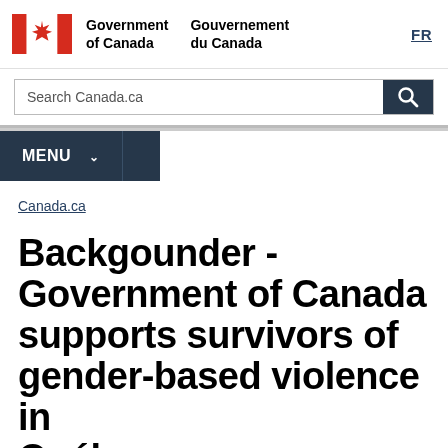[Figure (logo): Government of Canada / Gouvernement du Canada logo with Canadian flag maple leaf symbol, bilingual header with FR language toggle]
Search Canada.ca
MENU
Canada.ca
Backgounder - Government of Canada supports survivors of gender-based violence in Québec